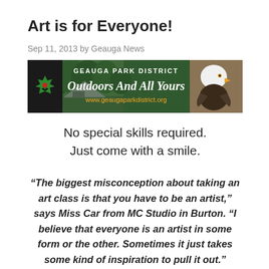Art is for Everyone!
Sep 11, 2013 by Geauga News
[Figure (illustration): Geauga Park District banner ad showing camping tent, bald eagle, and text 'Outdoors And All Yours' with website www.geaugaparkdistrict.org]
No special skills required.
Just come with a smile.
“The biggest misconception about taking an art class is that you have to be an artist,” says Miss Car from MC Studio in Burton. “I believe that everyone is an artist in some form or the other. Sometimes it just takes some kind of inspiration to pull it out.”